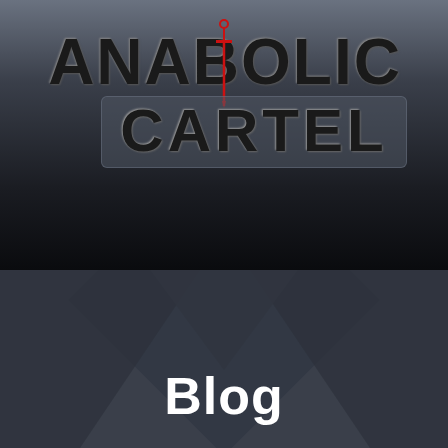[Figure (logo): Anabolic Cartel logo with a red sword/dagger through the word ANABOLIC on top and CARTEL in a gray box below, on a dark gradient background]
[Figure (other): Hamburger menu icon with three horizontal lines]
Blog